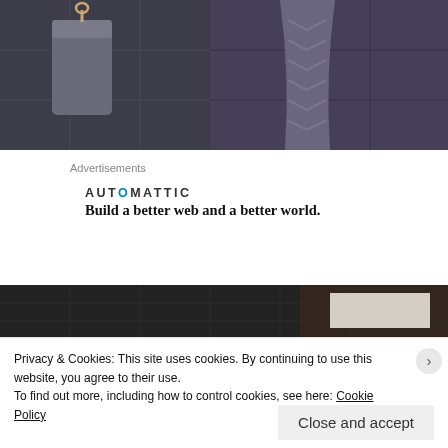[Figure (photo): Two side-by-side bathroom photos showing dark grey towels against dark stone tile. Left photo shows a folded towel hanging on a hook, right photo shows a towel with chevron pattern draped on wall tiles.]
Advertisements
[Figure (logo): Automattic logo — text reading AUT⊙MATTIC in spaced capital letters, with a blue circle-dot replacing the O.]
Build a better web and a better world.
[Figure (photo): Bottom portion of a bathroom photo showing dark stone tiles with a white rectangular element visible at right.]
Privacy & Cookies: This site uses cookies. By continuing to use this website, you agree to their use.
To find out more, including how to control cookies, see here: Cookie Policy